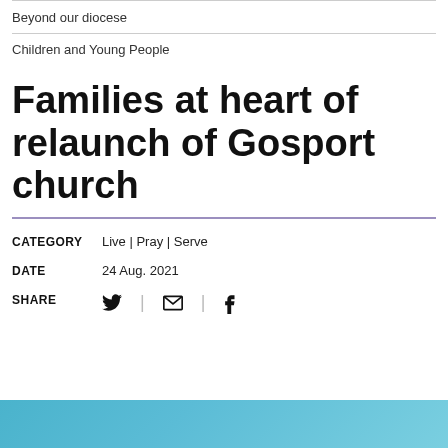Beyond our diocese
Children and Young People
Families at heart of relaunch of Gosport church
CATEGORY: Live | Pray | Serve
DATE: 24 Aug. 2021
SHARE
[Figure (photo): Partial image strip at bottom showing blue/teal background, cropped]